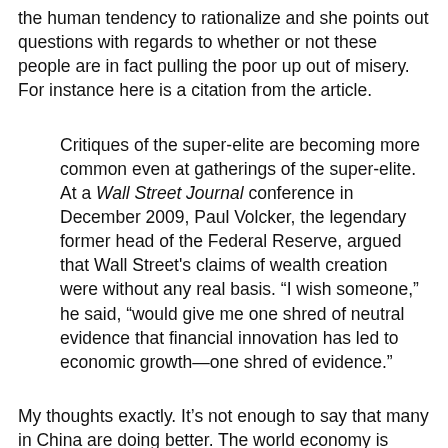the human tendency to rationalize and she points out questions with regards to whether or not these people are in fact pulling the poor up out of misery. For instance here is a citation from the article.
Critiques of the super-elite are becoming more common even at gatherings of the super-elite. At a Wall Street Journal conference in December 2009, Paul Volcker, the legendary former head of the Federal Reserve, argued that Wall Street's claims of wealth creation were without any real basis. “I wish someone,” he said, “would give me one shred of neutral evidence that financial innovation has led to economic growth—one shred of evidence.”
My thoughts exactly. It’s not enough to say that many in China are doing better. The world economy is almost always improving. The question is, what is the rate of economic growth. Is this system that we presently have, which creates many billionaires on Wall St and expands the gap between the rich and poor, actually retarding growth that would otherwise be there in a more regulated setup? Because for